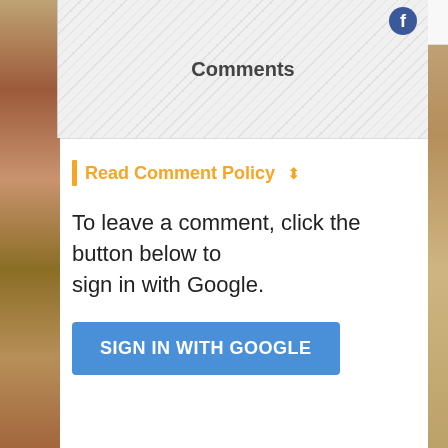[Figure (screenshot): Top tab area showing orange icon and comment count text, partially visible]
[Figure (screenshot): Hatched/diagonal striped comments box with 'Comments' label and Facebook icon]
Read Comment Policy ⬍
To leave a comment, click the button below to sign in with Google.
[Figure (screenshot): Blue 'SIGN IN WITH GOOGLE' button]